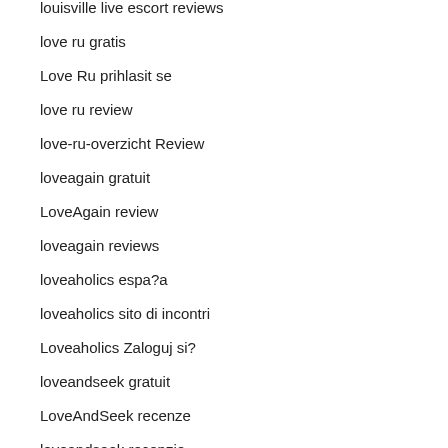louisville live escort reviews
love ru gratis
Love Ru prihlasit se
love ru review
love-ru-overzicht Review
loveagain gratuit
LoveAgain review
loveagain reviews
loveaholics espa?a
loveaholics sito di incontri
Loveaholics Zaloguj si?
loveandseek gratuit
LoveAndSeek recenze
loveandseek recenzje
loveandseek review
loveandseek-overzicht beoordelingen
loveroulette gratis
loveroulette italia
loveroulette login